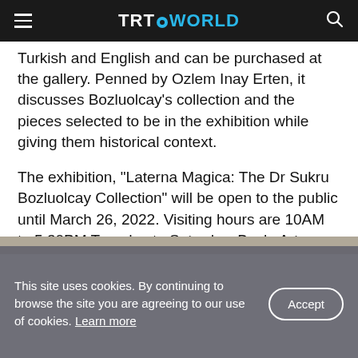TRT WORLD
Turkish and English and can be purchased at the gallery. Penned by Ozlem Inay Erten, it discusses Bozluolcay's collection and the pieces selected to be in the exhibition while giving them historical context.
The exhibition, “Laterna Magica: The Dr Sukru Bozluolcay Collection” will be open to the public until March 26, 2022. Visiting hours are 10AM to 5:30PM Tuesday to Saturday. Bozlu Art Project is closed on Sundays and Mondays.
[Figure (photo): Partial image strip visible at bottom of article area]
This site uses cookies. By continuing to browse the site you are agreeing to our use of cookies. Learn more